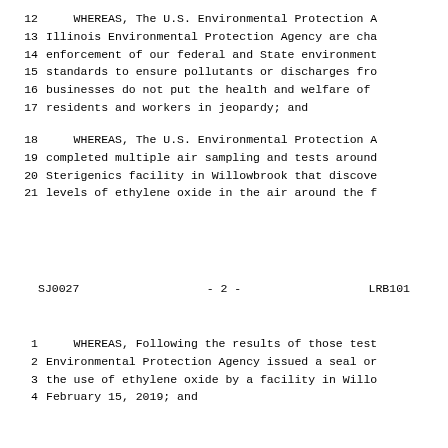12    WHEREAS, The U.S. Environmental Protection A
13    Illinois Environmental Protection Agency are cha
14    enforcement of our federal and State environment
15    standards to ensure pollutants or discharges fro
16    businesses do not put the health and welfare of
17    residents and workers in jeopardy; and
18    WHEREAS, The U.S. Environmental Protection A
19    completed multiple air sampling and tests around
20    Sterigenics facility in Willowbrook that discove
21    levels of ethylene oxide in the air around the f
SJ0027                    - 2 -                    LRB101
1     WHEREAS, Following the results of those test
2     Environmental Protection Agency issued a seal or
3     the use of ethylene oxide by a facility in Willo
4     February 15, 2019; and